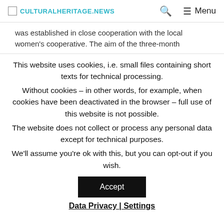CULTURALHERITAGE.NEWS  🔍  ☰ Menu
was established in close cooperation with the local women's cooperative. The aim of the three-month
This website uses cookies, i.e. small files containing short texts for technical processing. Without cookies – in other words, for example, when cookies have been deactivated in the browser – full use of this website is not possible. The website does not collect or process any personal data except for technical purposes. We'll assume you're ok with this, but you can opt-out if you wish.
Accept
Data Privacy | Settings